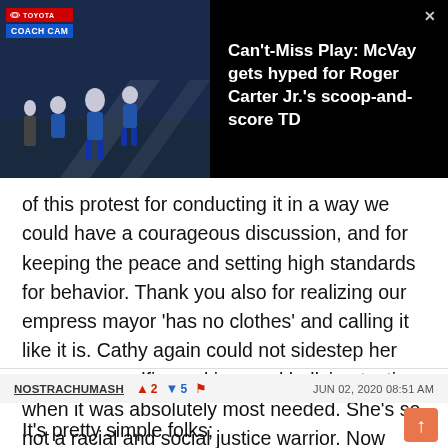[Figure (screenshot): Video thumbnail showing NFL players on field with 'COACH CAM' label and Toyota branding on left side; dark panel on right with video title text]
Can't-Miss Play: McVay gets hyped for Roger Carter Jr.'s scoop-and-score TD
of this protest for conducting it in a way we could have a courageous discussion, and for keeping the peace and setting high standards for behavior. Thank you also for realizing our empress mayor 'has no clothes' and calling it like it is. Cathy again could not sidestep her arrogance, selfie-seeking, and bullying tactics when it was absolutely most needed. She's so not a racial and social justice warrior. Now everyone can see it. FINALLY.
NOSTRACHUMASH  ▲2  ▼5  🚩  JUN 02, 2020 08:51 AM
It's pretty simple folks;